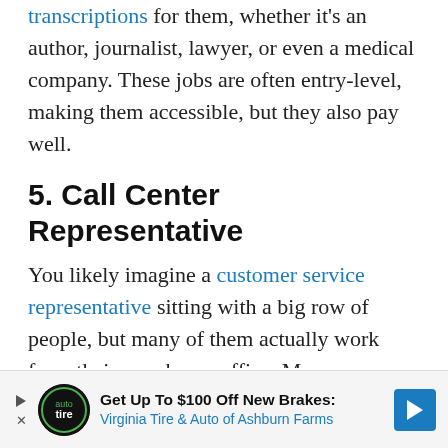transcriptions for them, whether it's an author, journalist, lawyer, or even a medical company. These jobs are often entry-level, making them accessible, but they also pay well.
5. Call Center Representative
You likely imagine a customer service representative sitting with a big row of people, but many of them actually work from their own home office. Many independent contractors work for companies that call
[Figure (other): Advertisement banner: 'Get Up To $100 Off New Brakes: Virginia Tire & Auto of Ashburn Farms' with a logo and blue arrow button]